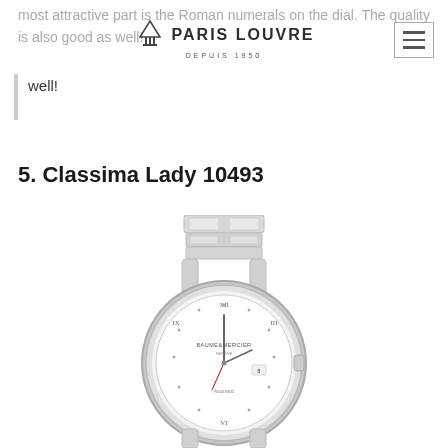Paris Louvre DEPUIS 1950
most attractive part is the Roman numerals on the dial. The quality is also good as well!
5. Classima Lady 10493
[Figure (photo): Baume & Mercier Classima Lady 10493 stainless steel ladies watch with white dial, diamond hour markers, Roman numerals, date window, and integrated steel bracelet.]